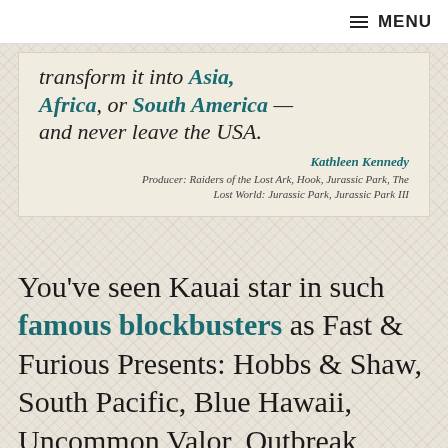MENU
transform it into Asia, Africa, or South America — and never leave the USA. Kathleen Kennedy Producer: Raiders of the Lost Ark, Hook, Jurassic Park, The Lost World: Jurassic Park, Jurassic Park III
You've seen Kauai star in such famous blockbusters as Fast & Furious Presents: Hobbs & Shaw, South Pacific, Blue Hawaii, Uncommon Valor, Outbreak, Jurassic Park and its sequels, Raiders of the Lost Ark, Mighty Joe Young, Dragonfly, Tropic Thunder, the Descendants and the biggest